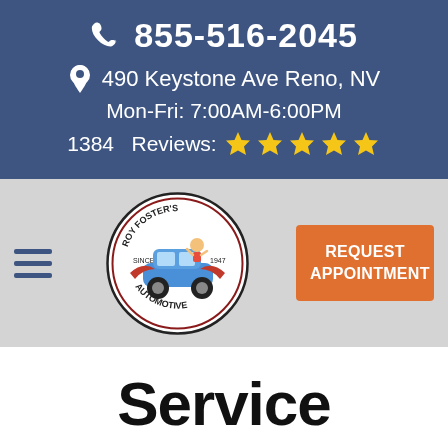855-516-2045
490 Keystone Ave Reno, NV
Mon-Fri: 7:00AM-6:00PM
1384   Reviews: ★★★★★
[Figure (logo): Roy Foster's Automotive logo — circular badge with illustrated car, wings, and text 'Roy Foster's Automotive Since 1947']
REQUEST APPOINTMENT
Service